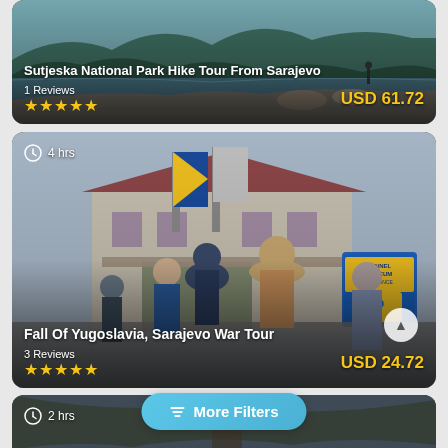[Figure (photo): Sutjeska National Park lake with forest and rocky shore, hiker visible in background]
Sutjeska National Park Hike Tour From Sarajevo
1 Reviews
USD 61.72
[Figure (photo): Fall of Yugoslavia Sarajevo War Tour - group of tourists at Tunnel Museum entrance with Bosnian flags]
4 hrs
Fall Of Yugoslavia, Sarajevo War Tour
3 Reviews
USD 24.72
[Figure (photo): Partial third tour card showing 2 hrs duration and mountain landscape]
2 hrs
More Filters